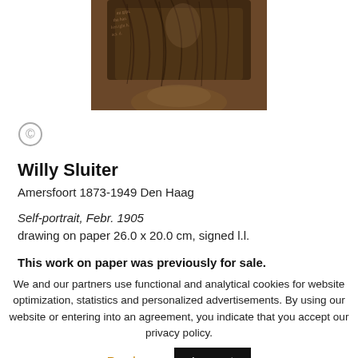[Figure (photo): Partial view of a self-portrait drawing by Willy Sluiter, showing a figure in brown tones, cropped at the top of the page.]
[Figure (other): Copyright circle-C icon]
Willy Sluiter
Amersfoort 1873-1949 Den Haag
Self-portrait, Febr. 1905
drawing on paper 26.0 x 20.0 cm, signed l.l.
This work on paper was previously for sale.
We and our partners use functional and analytical cookies for website optimization, statistics and personalized advertisements. By using our website or entering into an agreement, you indicate that you accept our privacy policy.
Read more
I accept